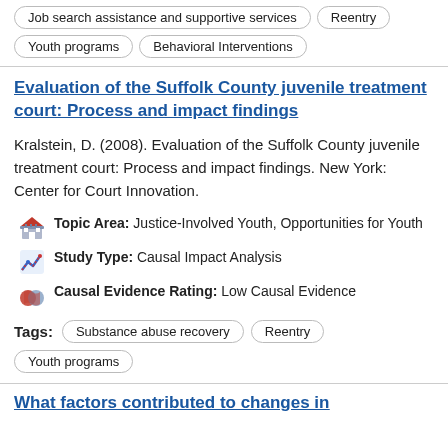Job search assistance and supportive services
Reentry
Youth programs
Behavioral Interventions
Evaluation of the Suffolk County juvenile treatment court: Process and impact findings
Kralstein, D. (2008). Evaluation of the Suffolk County juvenile treatment court: Process and impact findings. New York: Center for Court Innovation.
Topic Area: Justice-Involved Youth, Opportunities for Youth
Study Type: Causal Impact Analysis
Causal Evidence Rating: Low Causal Evidence
Tags: Substance abuse recovery  Reentry  Youth programs
What factors contributed to changes in